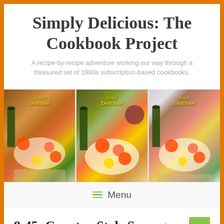Simply Delicious: The Cookbook Project
A recipe-by-recipe adventure working our way through a treasured set of 1980s subscription-based cookbooks.
[Figure (photo): Three copies of 'Simply Delicious' cookbook covers shown side by side, featuring food photography with tomatoes, a wine bottle, and a plated meal.]
Menu
9-45: Country-Style Sausage Medley